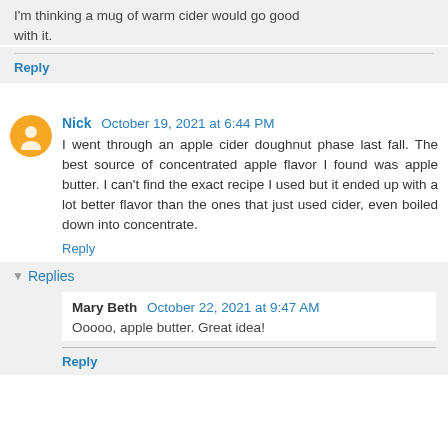I'm thinking a mug of warm cider would go good with it.
Reply
Nick October 19, 2021 at 6:44 PM
I went through an apple cider doughnut phase last fall. The best source of concentrated apple flavor I found was apple butter. I can't find the exact recipe I used but it ended up with a lot better flavor than the ones that just used cider, even boiled down into concentrate.
Reply
Replies
Mary Beth October 22, 2021 at 9:47 AM
Ooooo, apple butter. Great idea!
Reply